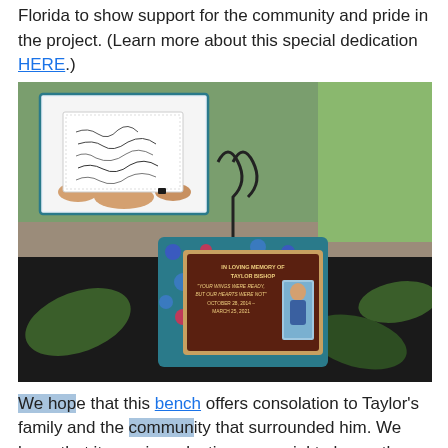Florida to show support for the community and pride in the project. (Learn more about this special dedication HERE.)
[Figure (photo): Main photo showing a memorial display on a table with a framed plaque reading 'In Loving Memory of Taylor Bishop – Your wings were ready, but our hearts were not – October 28, 2014 – March 25, 2021', decorated with colorful floral fabric, on a black tablecloth outdoors. An inset photo shows hands holding a paper with signatures/messages.]
We hope that this bench offers consolation to Taylor's family and the community that surrounded him. We hope that it remains a lasting memorial to honor the child and stand as a reflection of his life. We know for sure however, that he will remain in our hearts as do the stories of many others that we have encountered throughout our 26+